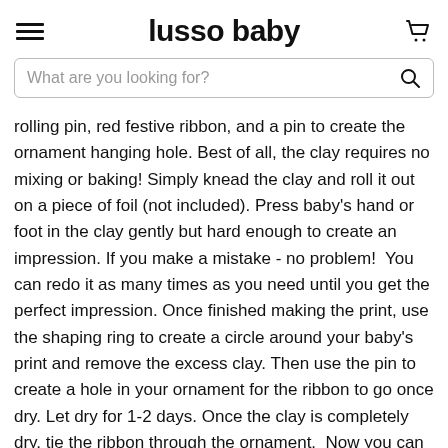lusso baby
rolling pin, red festive ribbon, and a pin to create the ornament hanging hole. Best of all, the clay requires no mixing or baking! Simply knead the clay and roll it out on a piece of foil (not included). Press baby's hand or foot in the clay gently but hard enough to create an impression. If you make a mistake - no problem!  You can redo it as many times as you need until you get the perfect impression. Once finished making the print, use the shaping ring to create a circle around your baby's print and remove the excess clay. Then use the pin to create a hole in your ornament for the ribbon to go once dry. Let dry for 1-2 days. Once the clay is completely dry, tie the ribbon through the ornament.  Now you can hang your adorable babyprints ornament on your tree or around your home for the holiday season. Pearhead's adorable babyprints ornament is the perfect decoration for your tree